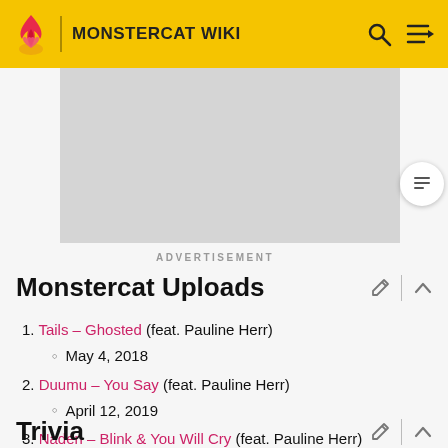MONSTERCAT WIKI
[Figure (other): Advertisement placeholder image (gray rectangle)]
ADVERTISEMENT
Monstercat Uploads
1. Tails – Ghosted (feat. Pauline Herr)
May 4, 2018
2. Duumu – You Say (feat. Pauline Herr)
April 12, 2019
3. Naderi – Blink & You Will Cry (feat. Pauline Herr)
March 5, 2021
Trivia